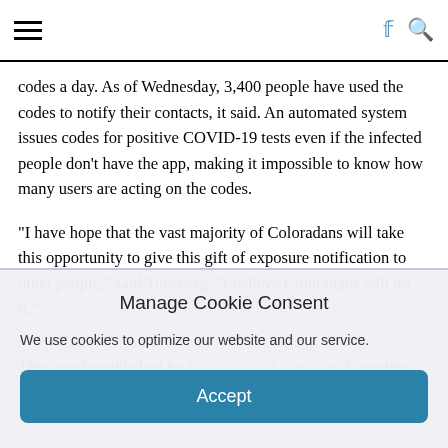[hamburger menu] [Facebook icon] [Search icon]
codes a day. As of Wednesday, 3,400 people have used the codes to notify their contacts, it said. An automated system issues codes for positive COVID-19 tests even if the infected people don't have the app, making it impossible to know how many users are acting on the codes.
“I have hope that the vast majority of Coloradans will take this opportunity to give this gift of exposure notification to other people,” said Tuneberg. “I believe Coloradans will do it.”
This article published by Kaiser Health News on November 19, 2020, here…
Manage Cookie Consent
We use cookies to optimize our website and our service.
Accept